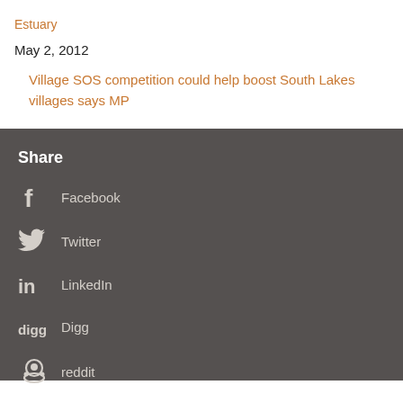Estuary
May 2, 2012
Village SOS competition could help boost South Lakes villages says MP
Share
Facebook
Twitter
LinkedIn
Digg
reddit